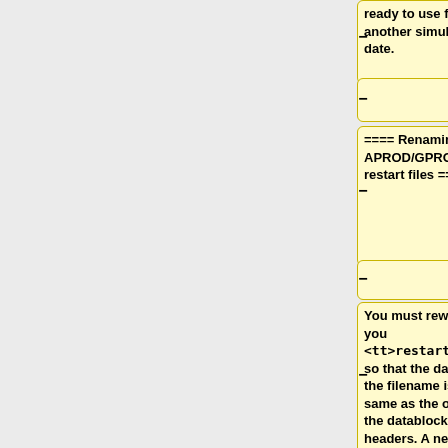[Figure (other): Diff view showing wiki markup changes. Left column shows removed content (yellow boxes with minus signs), right column shows added content (blue boxes with plus signs). Row 1 (partial, top): yellow box with text 'ready to use for another simulation date.', blue box empty. Row 2: empty yellow box with minus, empty blue box with plus. Row 3: yellow box with '==== Renaming APROD/GPROD restart files ====', blue box empty. Row 4: empty row with minus and plus. Row 5 (partial, bottom): yellow box with 'You must rewrite you <tt>restart_gprod_aprod.YYYYMMDDhh</tt> so that the date in the filename is the same as the one in the datablock headers. A new...' (cut off), blue box empty.]